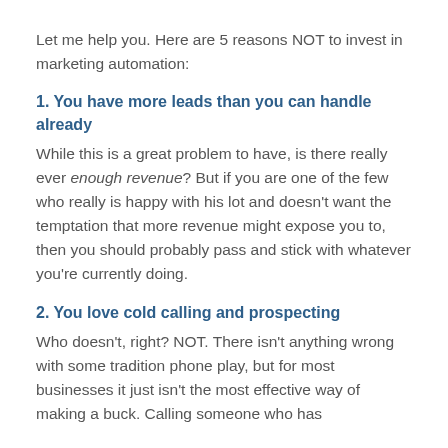Let me help you. Here are 5 reasons NOT to invest in marketing automation:
1. You have more leads than you can handle already
While this is a great problem to have, is there really ever enough revenue? But if you are one of the few who really is happy with his lot and doesn't want the temptation that more revenue might expose you to, then you should probably pass and stick with whatever you're currently doing.
2. You love cold calling and prospecting
Who doesn't, right? NOT. There isn't anything wrong with some tradition phone play, but for most businesses it just isn't the most effective way of making a buck. Calling someone who has